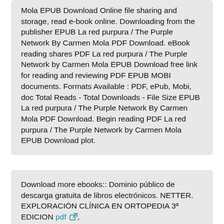Mola EPUB Download Online file sharing and storage, read e-book online. Downloading from the publisher EPUB La red purpura / The Purple Network By Carmen Mola PDF Download. eBook reading shares PDF La red purpura / The Purple Network by Carmen Mola EPUB Download free link for reading and reviewing PDF EPUB MOBI documents. Formats Available : PDF, ePub, Mobi, doc Total Reads - Total Downloads - File Size EPUB La red purpura / The Purple Network By Carmen Mola PDF Download. Begin reading PDF La red purpura / The Purple Network by Carmen Mola EPUB Download plot.
Download more ebooks:: Dominio público de descarga gratuita de libros electrónicos. NETTER. EXPLORACIÓN CLÍNICA EN ORTOPEDIA 3ª EDICION pdf ,